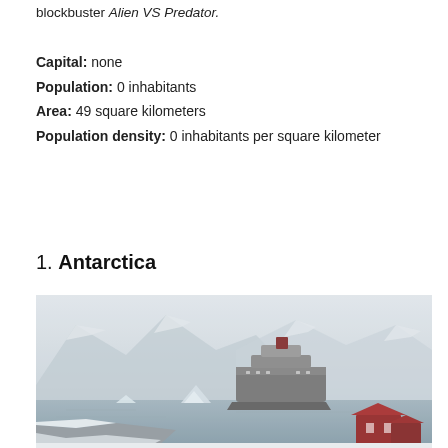blockbuster Alien VS Predator.
Capital: none
Population: 0 inhabitants
Area: 49 square kilometers
Population density: 0 inhabitants per square kilometer
1. Antarctica
[Figure (photo): Aerial view of Antarctica showing a cruise ship in icy waters surrounded by snow-covered mountains, icebergs, and red buildings on rocky foreground covered in snow, foggy/misty atmosphere.]